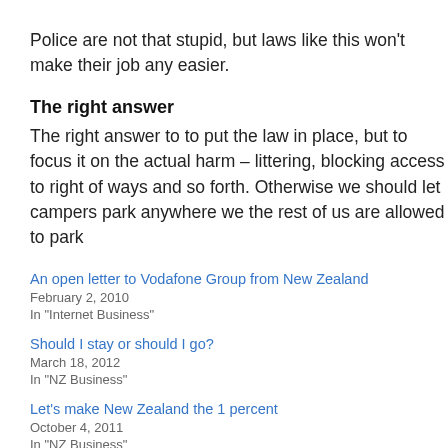Police are not that stupid, but laws like this won't make their job any easier.
The right answer
The right answer to to put the law in place, but to focus it on the actual harm – littering, blocking access to right of ways and so forth. Otherwise we should let campers park anywhere we the rest of us are allowed to park
An open letter to Vodafone Group from New Zealand
February 2, 2010
In "Internet Business"
Should I stay or should I go?
March 18, 2012
In "NZ Business"
Let's make New Zealand the 1 percent
October 4, 2011
In "NZ Business"